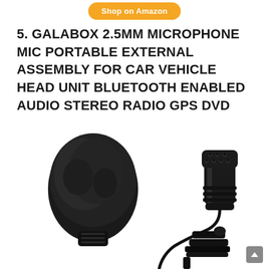[Figure (illustration): Orange/yellow rounded rectangular button at the top with text 'Shop on Amazon' in white bold font]
5. GALABOX 2.5MM MICROPHONE MIC PORTABLE EXTERNAL ASSEMBLY FOR CAR VEHICLE HEAD UNIT BLUETOOTH ENABLED AUDIO STEREO RADIO GPS DVD
[Figure (photo): Product photo showing a black foam windscreen/pop filter on the left and a black clip-on lavalier microphone on the right, both on a white background]